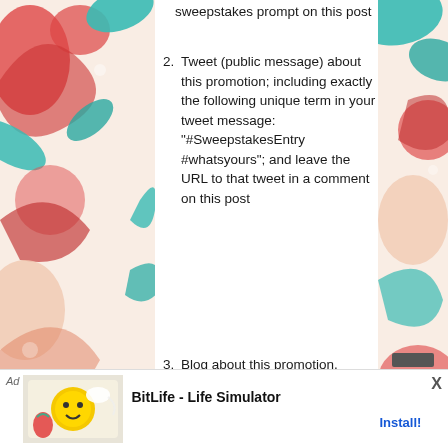sweepstakes prompt on this post
2. Tweet (public message) about this promotion; including exactly the following unique term in your tweet message: "#SweepstakesEntry #whatsyours"; and leave the URL to that tweet in a comment on this post
3. Blog about this promotion, including a disclosure that you are receiving a sweepstakes entry in exchange for writing the blog post, and leave the URL to that ... post
r blog, read the t an alternate
nts age 18 or random draw, have 72 hours to
[Figure (other): Advertisement banner for BitLife - Life Simulator game with Install button]